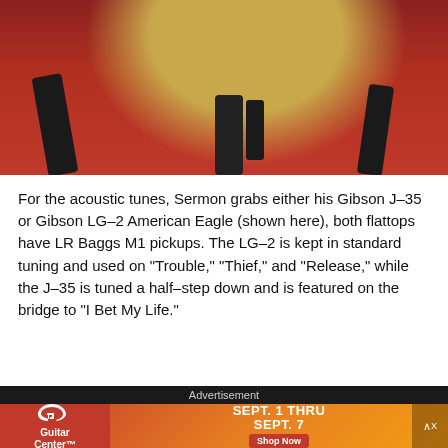[Figure (photo): Close-up photo of a Gibson acoustic guitar (golden/amber top) on a black guitar stand, with a red background. The guitar body is visible from the bottom, showing the stand holding it up.]
For the acoustic tunes, Sermon grabs either his Gibson J-35 or Gibson LG-2 American Eagle (shown here), both flattops have LR Baggs M1 pickups. The LG-2 is kept in standard tuning and used on "Trouble," "Thief," and "Release," while the J-35 is tuned a half-step down and is featured on the bridge to "I Bet My Life."
Advertisement
[Figure (photo): Guitar Center advertisement banner. Red and orange gradient background with Guitar Center logo on the left. Text reads 'SEPT. 1 THRU SEPT. 7' with a 'Shop Now' red button. Background shows guitar/drum imagery.]